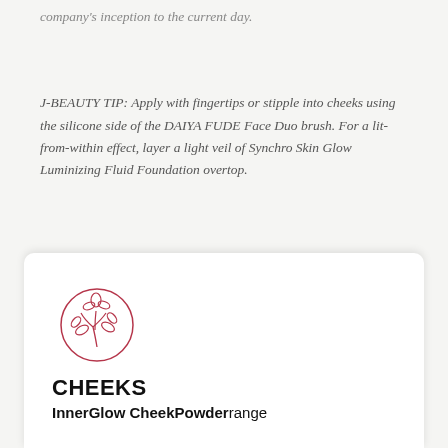company's inception to the current day.
J-BEAUTY TIP: Apply with fingertips or stipple into cheeks using the silicone side of the DAIYA FUDE Face Duo brush. For a lit- from-within effect, layer a light veil of Synchro Skin Glow Luminizing Fluid Foundation overtop.
[Figure (logo): Circular Shiseido flower/plant logo in rose/pink outline]
CHEEKS
InnerGlow CheekPowder range